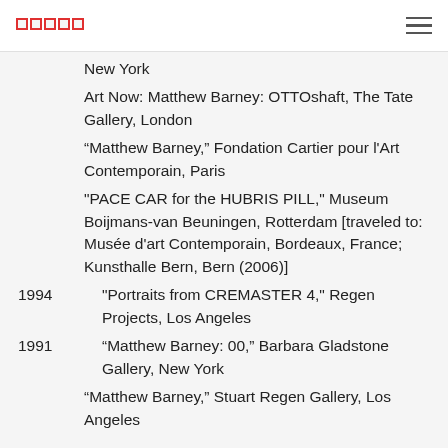[logo] [hamburger menu]
New York
Art Now: Matthew Barney: OTTOshaft, The Tate Gallery, London
“Matthew Barney,” Fondation Cartier pour l'Art Contemporain, Paris
"PACE CAR for the HUBRIS PILL," Museum Boijmans-van Beuningen, Rotterdam [traveled to: Musée d'art Contemporain, Bordeaux, France; Kunsthalle Bern, Bern (2006)]
1994  "Portraits from CREMASTER 4," Regen Projects, Los Angeles
1991  “Matthew Barney: 00,” Barbara Gladstone Gallery, New York
“Matthew Barney,” Stuart Regen Gallery, Los Angeles